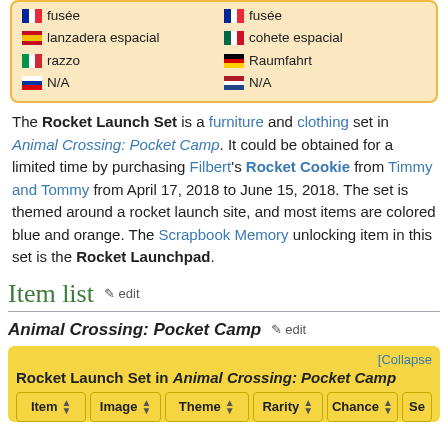|  | left-col | right-col |
| --- | --- | --- |
| 🇫🇷 fusée | 🇫🇷 fusée |
| 🇪🇸 lanzadera espacial | 🇲🇽 cohete espacial |
| 🇮🇹 razzo | 🇩🇪 Raumfahrt |
| 🇷🇺 N/A | 🇳🇱 N/A |
The Rocket Launch Set is a furniture and clothing set in Animal Crossing: Pocket Camp. It could be obtained for a limited time by purchasing Filbert's Rocket Cookie from Timmy and Tommy from April 17, 2018 to June 15, 2018. The set is themed around a rocket launch site, and most items are colored blue and orange. The Scrapbook Memory unlocking item in this set is the Rocket Launchpad.
Item list
Animal Crossing: Pocket Camp
| Item | Image | Theme | Rarity | Chance | Se... |
| --- | --- | --- | --- | --- | --- |